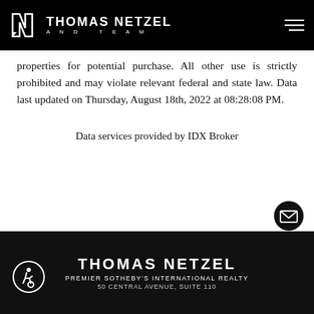THOMAS NETZEL AND TEAM
properties for potential purchase. All other use is strictly prohibited and may violate relevant federal and state law. Data last updated on Thursday, August 18th, 2022 at 08:28:08 PM.
Data services provided by IDX Broker
THOMAS NETZEL
PREMIER SOTHEBY'S INTERNATIONAL REALTY
50 CENTRAL AVENUE, SUITE 110